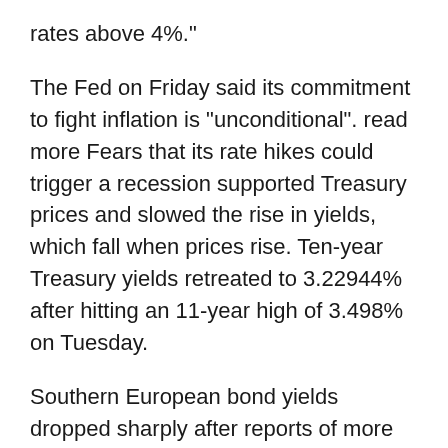rates above 4%."
The Fed on Friday said its commitment to fight inflation is "unconditional". read more Fears that its rate hikes could trigger a recession supported Treasury prices and slowed the rise in yields, which fall when prices rise. Ten-year Treasury yields retreated to 3.22944% after hitting an 11-year high of 3.498% on Tuesday.
Southern European bond yields dropped sharply after reports of more detail from ECB President Christine Lagarde on the central bank's plans.
"The more aggressive line by central banks adds to headwinds for both economic growth and equities," said Mark Haefele, chief investment officer at UBS Global Wealth Management. "The risks of a recession are rising, while achieving a soft landing for the U.S.